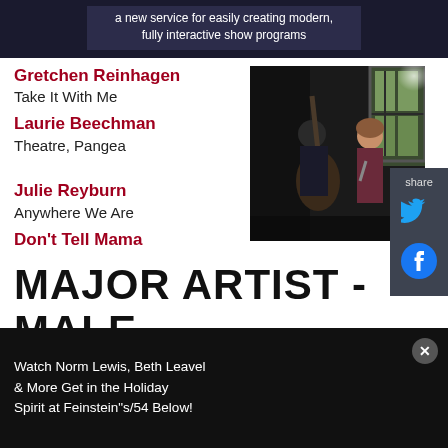a new service for easily creating modern, fully interactive show programs
Gretchen Reinhagen
Take It With Me
Laurie Beechman
Theatre, Pangea
[Figure (photo): Two performers on a darkened stage, one playing upright bass, one singing near a window]
Julie Reyburn
Anywhere We Are
Don't Tell Mama
MAJOR ARTIST - MALE
Eric Comstock
Watch Norm Lewis, Beth Leavel & More Get in the Holiday Spirit at Feinstein"s/54 Below!